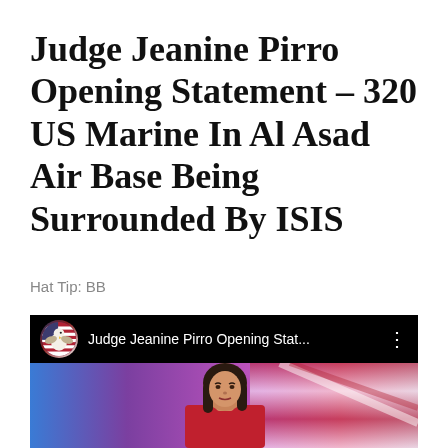Judge Jeanine Pirro Opening Statement – 320 US Marine In Al Asad Air Base Being Surrounded By ISIS
Hat Tip: BB
[Figure (screenshot): YouTube video thumbnail showing Judge Jeanine Pirro Opening Statement video with avatar of bald eagle with American flag, video title truncated as 'Judge Jeanine Pirro Opening Stat...', and video frame showing a woman with dark hair in front of a colorful background with American flag.]